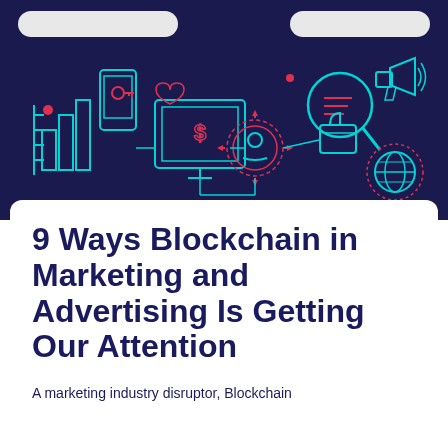[Figure (illustration): Digital marketing and blockchain technology illustration on dark navy blue background. Teal and red line-art icons including a mobile phone with key, bar chart, dollar sign monitor, magnifying glass with code, person/user icon with arrows, heart and thumbs up icons, globe with dotted circle, and megaphone/bullhorn. Connected by teal lines forming a network diagram.]
9 Ways Blockchain in Marketing and Advertising Is Getting Our Attention
A marketing industry disruptor, Blockchain